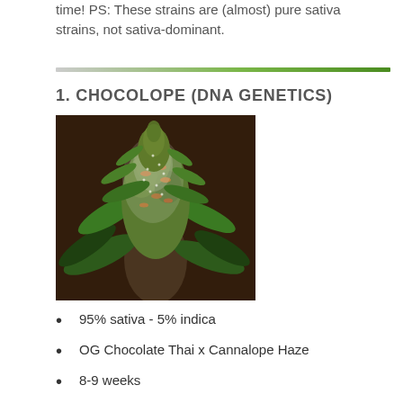time! PS: These strains are (almost) pure sativa strains, not sativa-dominant.
[Figure (other): Decorative diagonal green divider line]
1. CHOCOLOPE (DNA GENETICS)
[Figure (photo): Close-up photograph of a cannabis plant bud (Chocolope strain) with dense, crystal-covered flowers and green leaves, dark brown/orange background]
95% sativa - 5% indica
OG Chocolate Thai x Cannalope Haze
8-9 weeks